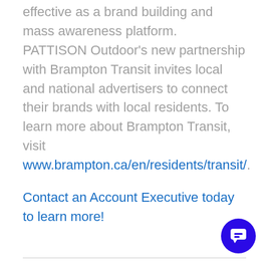...as OOH transit advertising is extremely effective as a brand building and mass awareness platform. PATTISON Outdoor's new partnership with Brampton Transit invites local and national advertisers to connect their brands with local residents. To learn more about Brampton Transit, visit www.brampton.ca/en/residents/transit/.
Contact an Account Executive today to learn more!